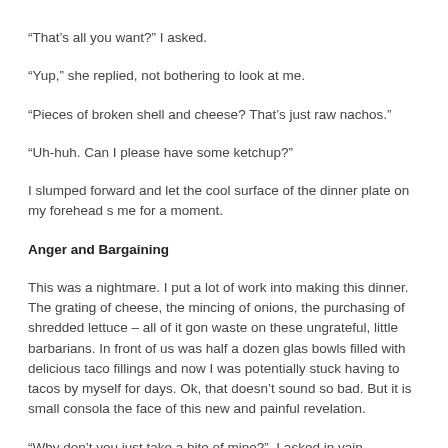“That’s all you want?” I asked.
“Yup,” she replied, not bothering to look at me.
“Pieces of broken shell and cheese? That’s just raw nachos.”
“Uh-huh. Can I please have some ketchup?”
I slumped forward and let the cool surface of the dinner plate on my forehead s… me for a moment.
Anger and Bargaining
This was a nightmare. I put a lot of work into making this dinner. The grating of cheese, the mincing of onions, the purchasing of shredded lettuce – all of it gon… waste on these ungrateful, little barbarians. In front of us was half a dozen glas… bowls filled with delicious taco fillings and now I was potentially stuck having to… tacos by myself for days. Ok, that doesn’t sound so bad. But it is small consola… the face of this new and painful revelation.
“Why don’t you just take a bite of mine?”, I asked in vain.
The response was an emphatic “No”. I held up my taco for the boy to try and by…